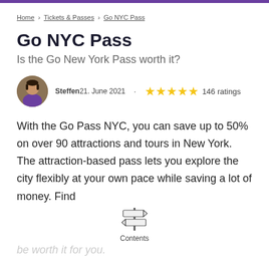Home › Tickets & Passes › Go NYC Pass
Go NYC Pass
Is the Go New York Pass worth it?
Steffen 21. June 2021  ·  ★★★★★ 146 ratings
With the Go Pass NYC, you can save up to 50% on over 90 attractions and tours in New York. The attraction-based pass lets you explore the city flexibly at your own pace while saving a lot of money. Find
[Figure (infographic): Road sign / contents icon with two horizontal signs on a post]
Contents
be worth it for you.